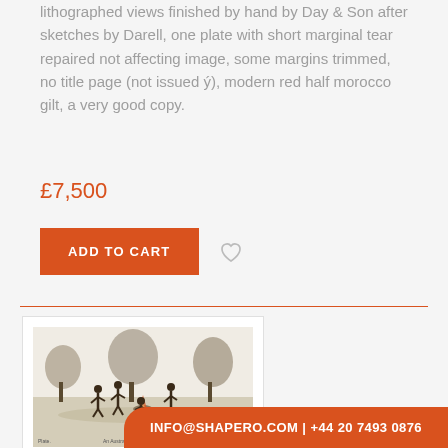lithographed views finished by hand by Day & Son after sketches by Darell, one plate with short marginal tear repaired not affecting image, some margins trimmed, no title page (not issued ý), modern red half morocco gilt, a very good copy.
£7,500
ADD TO CART
[Figure (illustration): Historical lithograph showing indigenous figures in an outdoor scene with trees and fire]
INFO@SHAPERO.COM | +44 20 7493 0876